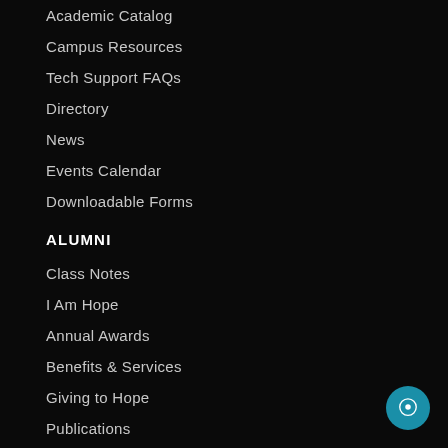Academic Catalog
Campus Resources
Tech Support FAQs
Directory
News
Events Calendar
Downloadable Forms
ALUMNI
Class Notes
I Am Hope
Annual Awards
Benefits & Services
Giving to Hope
Publications
Giving Back to Hope
Staff
News
Events Calendar
DONORS